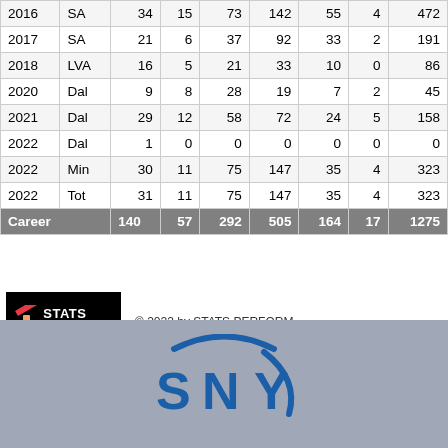| Year | Team | G | GS | Rec | Yds | Avg | TD | Pts |
| --- | --- | --- | --- | --- | --- | --- | --- | --- |
| 2016 | SA | 34 | 15 | 73 | 142 | 55 | 4 | 472 |
| 2017 | SA | 21 | 6 | 37 | 92 | 33 | 2 | 191 |
| 2018 | LVA | 16 | 5 | 21 | 33 | 10 | 0 | 86 |
| 2020 | Dal | 9 | 8 | 28 | 19 | 7 | 2 | 45 |
| 2021 | Dal | 29 | 12 | 58 | 72 | 24 | 5 | 158 |
| 2022 | Dal | 1 | 0 | 0 | 0 | 0 | 0 | 0 |
| 2022 | Min | 30 | 11 | 75 | 147 | 35 | 4 | 323 |
| 2022 | Tot | 31 | 11 | 75 | 147 | 35 | 4 | 323 |
| Career |  | 140 | 57 | 292 | 505 | 164 | 17 | 1275 |
[Figure (logo): Stats Perform logo - black background with colored slash icon and white bold text]
© 2022 by STATS PERFORM.
[Figure (logo): SNY network logo - blue stylized letters on grey-blue banner background]